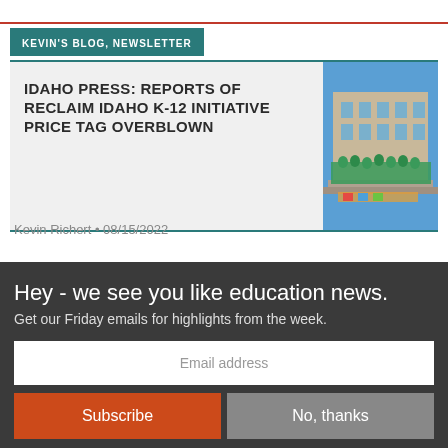KEVIN'S BLOG, NEWSLETTER
IDAHO PRESS: REPORTS OF RECLAIM IDAHO K-12 INITIATIVE PRICE TAG OVERBLOWN
[Figure (photo): Group of people in green shirts gathered on steps of a building]
Kevin Richert • 08/15/2022
Hey - we see you like education news.
Get our Friday emails for highlights from the week.
Email address
Subscribe
No, thanks